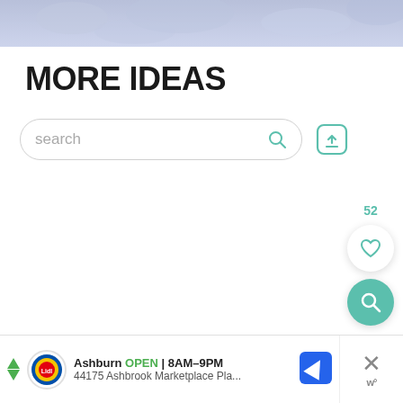[Figure (photo): Top portion of a fluffy light lavender/grey animal or fur texture, cropped at the top of the page.]
MORE IDEAS
[Figure (screenshot): Search bar with placeholder text 'search', a teal search icon on the right, and a teal upload/share icon button to the right of the bar.]
52
[Figure (screenshot): Floating action buttons: a white circular heart/like button with '52' count above it, and a teal circular search button below.]
[Figure (screenshot): Advertisement bar at the bottom showing Lidl logo, 'Ashburn OPEN 8AM–9PM', '44175 Ashbrook Marketplace Pla...' with navigation arrow icon, and a close X button with 'w°' branding.]